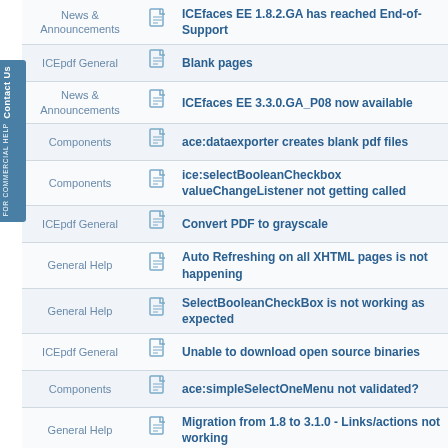| Category | Icon | Title |
| --- | --- | --- |
| News & Announcements |  | ICEfaces EE 1.8.2.GA has reached End-of-Support |
| ICEpdf General |  | Blank pages |
| News & Announcements |  | ICEfaces EE 3.3.0.GA_P08 now available |
| Components |  | ace:dataexporter creates blank pdf files |
| Components |  | ice:selectBooleanCheckbox valueChangeListener not getting called |
| ICEpdf General |  | Convert PDF to grayscale |
| General Help |  | Auto Refreshing on all XHTML pages is not happening |
| General Help |  | SelectBooleanCheckBox is not working as expected |
| ICEpdf General |  | Unable to download open source binaries |
| Components |  | ace:simpleSelectOneMenu not validated? |
| General Help |  | Migration from 1.8 to 3.1.0 - Links/actions not working |
| Components |  | ace:datatable filter not aligned |
| News & Announcements |  | ICEfaces EE 4.3.0.GA_P02 now available |